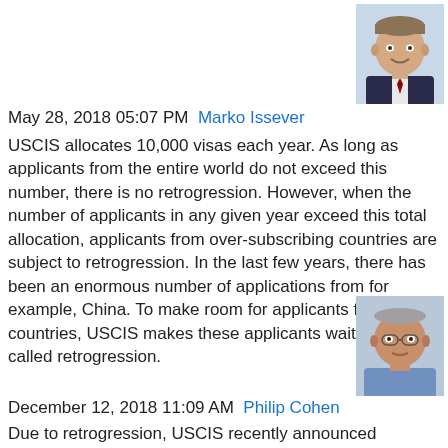[Figure (photo): Headshot of Marko Issever, man in suit, smiling]
May 28, 2018 05:07 PM  Marko Issever
USCIS allocates 10,000 visas each year. As long as applicants from the entire world do not exceed this number, there is no retrogression. However, when the number of applicants in any given year exceed this total allocation, applicants from over-subscribing countries are subject to retrogression. In the last few years, there has been an enormous number of applications from for example, China. To make room for applicants from other countries, USCIS makes these applicants wait. This is called retrogression.
[Figure (photo): Headshot of Philip Cohen, man in casual shirt]
December 12, 2018 11:09 AM  Philip Cohen
Due to retrogression, USCIS recently announced (October 2018) that waiting lists are as follows: China (14 years); Vietnam (7.2 years); India (5.7 years); South Korea (2.2 years); Taiwan ROC (1.7 years); Brazil (1.5